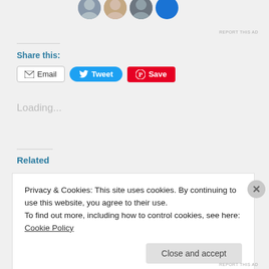[Figure (photo): Partial view of circular avatar photos at the top of the page]
REPORT THIS AD
Share this:
Email  Tweet  Save
Loading...
Related
Privacy & Cookies: This site uses cookies. By continuing to use this website, you agree to their use.
To find out more, including how to control cookies, see here: Cookie Policy
Close and accept
REPORT THIS AD